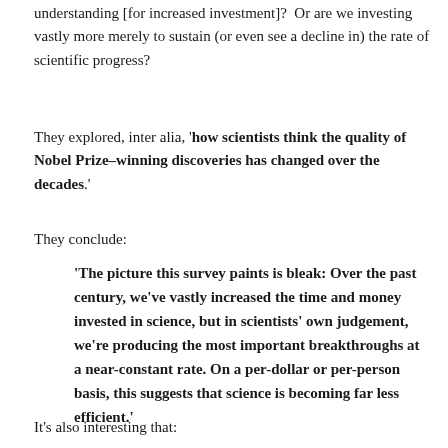understanding [for increased investment]?  Or are we investing vastly more merely to sustain (or even see a decline in) the rate of scientific progress?
They explored, inter alia, 'how scientists think the quality of Nobel Prize–winning discoveries has changed over the decades.'
They conclude:
'The picture this survey paints is bleak: Over the past century, we've vastly increased the time and money invested in science, but in scientists' own judgement, we're producing the most important breakthroughs at a near-constant rate. On a per-dollar or per-person basis, this suggests that science is becoming far less efficient.'
It's also interesting that: